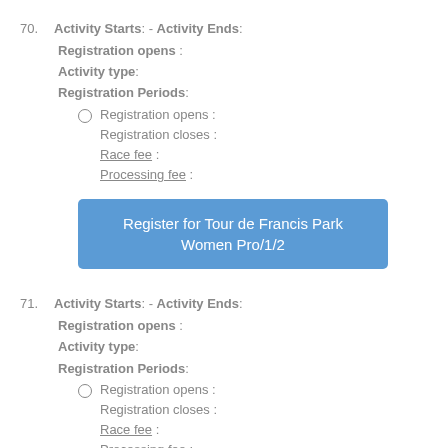70. Activity Starts: - Activity Ends: Registration opens : Activity type: Registration Periods: Registration opens : Registration closes : Race fee : Processing fee :
[Figure (other): Blue button: Register for Tour de Francis Park Women Pro/1/2]
71. Activity Starts: - Activity Ends: Registration opens : Activity type: Registration Periods: Registration opens : Registration closes : Race fee : Processing fee :